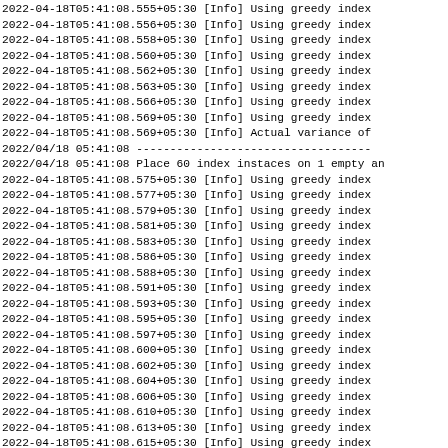2022-04-18T05:41:08.555+05:30 [Info] Using greedy index
2022-04-18T05:41:08.556+05:30 [Info] Using greedy index
2022-04-18T05:41:08.558+05:30 [Info] Using greedy index
2022-04-18T05:41:08.560+05:30 [Info] Using greedy index
2022-04-18T05:41:08.562+05:30 [Info] Using greedy index
2022-04-18T05:41:08.563+05:30 [Info] Using greedy index
2022-04-18T05:41:08.566+05:30 [Info] Using greedy index
2022-04-18T05:41:08.569+05:30 [Info] Using greedy index
2022-04-18T05:41:08.569+05:30 [Info] Actual variance of
2022/04/18 05:41:08 -----------------------------------
2022/04/18 05:41:08 Place 60 index instaces on 1 empty an
2022-04-18T05:41:08.575+05:30 [Info] Using greedy index
2022-04-18T05:41:08.577+05:30 [Info] Using greedy index
2022-04-18T05:41:08.579+05:30 [Info] Using greedy index
2022-04-18T05:41:08.581+05:30 [Info] Using greedy index
2022-04-18T05:41:08.583+05:30 [Info] Using greedy index
2022-04-18T05:41:08.586+05:30 [Info] Using greedy index
2022-04-18T05:41:08.588+05:30 [Info] Using greedy index
2022-04-18T05:41:08.591+05:30 [Info] Using greedy index
2022-04-18T05:41:08.593+05:30 [Info] Using greedy index
2022-04-18T05:41:08.595+05:30 [Info] Using greedy index
2022-04-18T05:41:08.597+05:30 [Info] Using greedy index
2022-04-18T05:41:08.600+05:30 [Info] Using greedy index
2022-04-18T05:41:08.602+05:30 [Info] Using greedy index
2022-04-18T05:41:08.604+05:30 [Info] Using greedy index
2022-04-18T05:41:08.606+05:30 [Info] Using greedy index
2022-04-18T05:41:08.610+05:30 [Info] Using greedy index
2022-04-18T05:41:08.613+05:30 [Info] Using greedy index
2022-04-18T05:41:08.615+05:30 [Info] Using greedy index
2022-04-18T05:41:08.617+05:30 [Info] Using greedy index